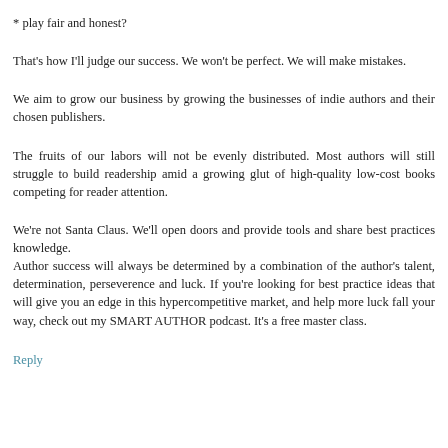* play fair and honest?
That's how I'll judge our success. We won't be perfect. We will make mistakes.
We aim to grow our business by growing the businesses of indie authors and their chosen publishers.
The fruits of our labors will not be evenly distributed. Most authors will still struggle to build readership amid a growing glut of high-quality low-cost books competing for reader attention.
We're not Santa Claus. We'll open doors and provide tools and share best practices knowledge. Author success will always be determined by a combination of the author's talent, determination, perseverence and luck. If you're looking for best practice ideas that will give you an edge in this hypercompetitive market, and help more luck fall your way, check out my SMART AUTHOR podcast. It's a free master class.
Reply